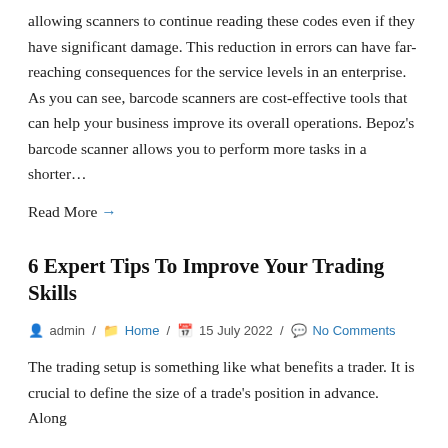allowing scanners to continue reading these codes even if they have significant damage. This reduction in errors can have far-reaching consequences for the service levels in an enterprise. As you can see, barcode scanners are cost-effective tools that can help your business improve its overall operations. Bepoz's barcode scanner allows you to perform more tasks in a shorter…
Read More →
6 Expert Tips To Improve Your Trading Skills
admin / Home / 15 July 2022 / No Comments
The trading setup is something like what benefits a trader. It is crucial to define the size of a trade's position in advance. Along